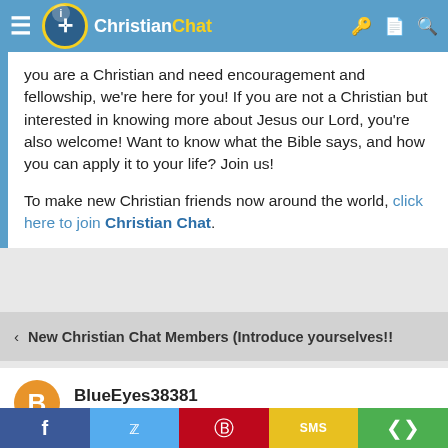Christian Chat
you are a Christian and need encouragement and fellowship, we're here for you! If you are not a Christian but interested in knowing more about Jesus our Lord, you're also welcome! Want to know what the Bible says, and how you can apply it to your life? Join us!
To make new Christian friends now around the world, click here to join Christian Chat.
< New Christian Chat Members (Introduce yourselves!!
BlueEyes38381
Guest